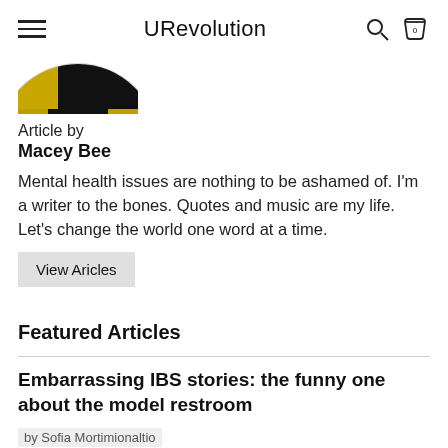URevolution
[Figure (photo): Partial circular profile image showing gold and black colors, cropped at top]
Article by
Macey Bee
Mental health issues are nothing to be ashamed of. I'm a writer to the bones. Quotes and music are my life. Let's change the world one word at a time.
View Aricles
Featured Articles
Embarrassing IBS stories: the funny one about the model restroom
by Sofia Mortimionaltio